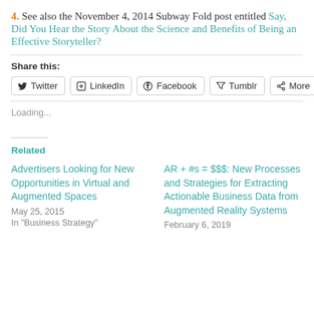4. See also the November 4, 2014 Subway Fold post entitled Say, Did You Hear the Story About the Science and Benefits of Being an Effective Storyteller?
Share this:
Twitter | LinkedIn | Facebook | Tumblr | More
Loading...
Related
Advertisers Looking for New Opportunities in Virtual and Augmented Spaces
May 25, 2015
In "Business Strategy"
AR + #s = $$$: New Processes and Strategies for Extracting Actionable Business Data from Augmented Reality Systems
February 6, 2019